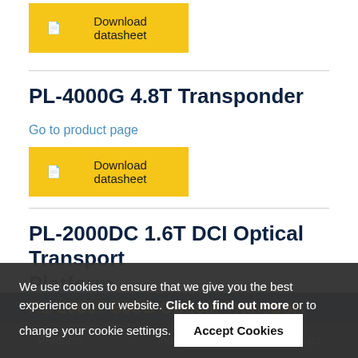Download datasheet (button, top)
PL-4000G 4.8T Transponder
Go to product page
Download datasheet
PL-2000DC 1.6T DCI Optical Transport Platform
Go to product page
Download datasheet
We use cookies to ensure that we give you the best experience on our website. Click to find out more or to change your cookie settings.
Accept Cookies
Products   Industries   Contact